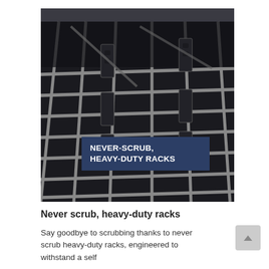[Figure (photo): Close-up photograph of oven/grill heavy-duty wire racks with a dark navy blue overlay banner reading NEVER-SCRUB, HEAVY-DUTY RACKS in bold white uppercase text.]
Never scrub, heavy-duty racks
Say goodbye to scrubbing thanks to never scrub heavy-duty racks, engineered to withstand a self